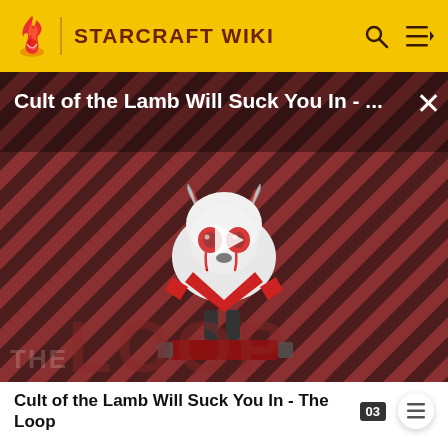STARCRAFT WIKI
[Figure (screenshot): Video thumbnail showing a cartoon lamb character on a striped red/dark background with 'THE LOOP' text. Title overlay reads 'Cult of the Lamb Will Suck You In - ...' with a play button in the center and an X close button at top right.]
Cult of the Lamb Will Suck You In - The Loop
Main article: Belly of the Beast
Jim Raynor led an expedition to the tunnels, in order to plant explosives into key points and destroy the zydus